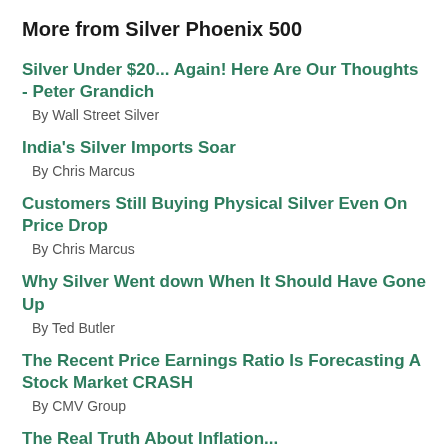More from Silver Phoenix 500
Silver Under $20... Again! Here Are Our Thoughts - Peter Grandich
By Wall Street Silver
India's Silver Imports Soar
By Chris Marcus
Customers Still Buying Physical Silver Even On Price Drop
By Chris Marcus
Why Silver Went down When It Should Have Gone Up
By Ted Butler
The Recent Price Earnings Ratio Is Forecasting A Stock Market CRASH
By CMV Group
The Real Truth About Inflation...
By Chris Marcus